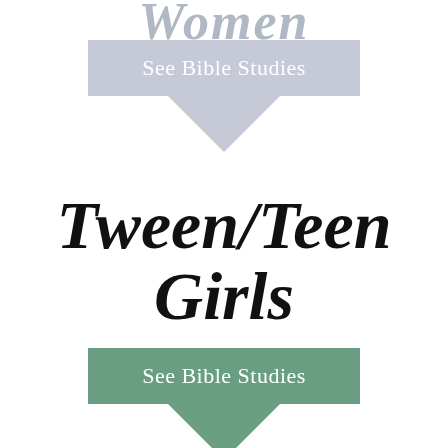Women
[Figure (infographic): Light blue-gray downward-pointing arrow/badge shape with text 'See Bible Studies' in white]
Tween/Teen Girls
[Figure (infographic): Green downward-pointing arrow/badge shape with text 'See Bible Studies' in white]